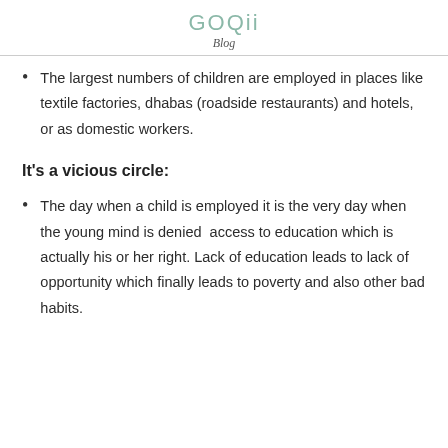GOQii
Blog
The largest numbers of children are employed in places like textile factories, dhabas (roadside restaurants) and hotels, or as domestic workers.
It’s a vicious circle:
The day when a child is employed it is the very day when the young mind is denied access to education which is actually his or her right. Lack of education leads to lack of opportunity which finally leads to poverty and also other bad habits.